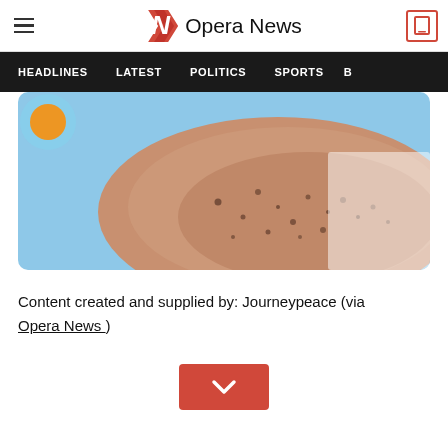Opera News
[Figure (illustration): Navigation bar with HEADLINES, LATEST, POLITICS, SPORTS, B... menu items on dark background]
[Figure (photo): Close-up photo of skin with dark spots/freckles, partially showing a circular icon in top-left corner, on blue background]
Content created and supplied by: Journeypeace (via Opera News )